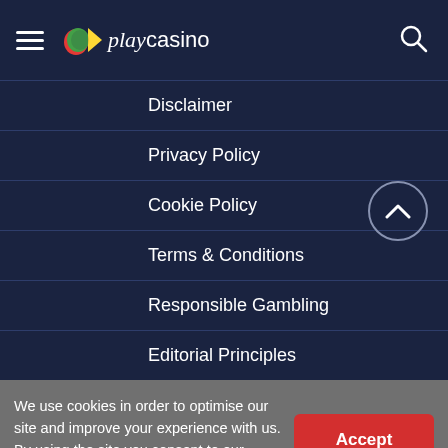playcasino
Disclaimer
Privacy Policy
Cookie Policy
Terms & Conditions
Responsible Gambling
Editorial Principles
We use cookies in order to optimise our site and improve your experience with us. By using the site you consent to our Cookie Policy.